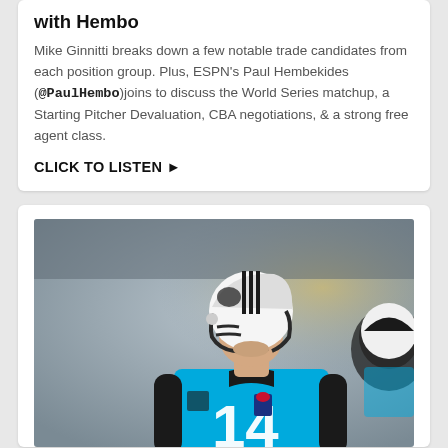with Hembo
Mike Ginnitti breaks down a few notable trade candidates from each position group. Plus, ESPN's Paul Hembekides (@PaulHembo)joins to discuss the World Series matchup, a Starting Pitcher Devaluation, CBA negotiations, & a strong free agent class.
CLICK TO LISTEN ▶
[Figure (photo): Carolina Panthers quarterback wearing #14 blue jersey and white helmet with Panthers logo, smiling, with teammates in background]